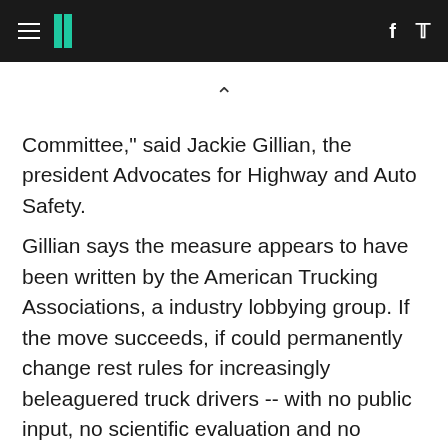HuffPost navigation with hamburger menu, logo, Facebook and Twitter icons
Committee," said Jackie Gillian, the president Advocates for Highway and Auto Safety.
Gillian says the measure appears to have been written by the American Trucking Associations, a industry lobbying group. If the move succeeds, if could permanently change rest rules for increasingly beleaguered truck drivers -- with no public input, no scientific evaluation and no discussion with regulators.
"It is like the worse of all possible worlds," Gillian said. "The idea that the ATA has come in and